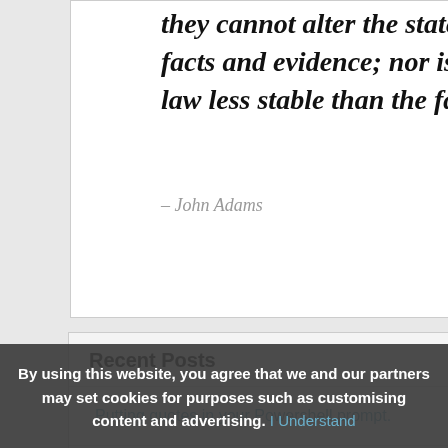they cannot alter the state o facts and evidence; nor is th law less stable than the fact…”
3 minutes left
– John Adams
Recent Posts
Putting quotes in your Powershell prompt.
TaskCollection - Making your async code parallel
TimeThis! - Simple timings for your blocks of code with computation
By using this website, you agree that we and our partners may set cookies for purposes such as customising content and advertising. I Understand